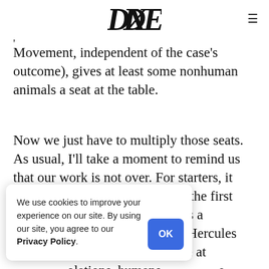DXE logo and hamburger menu
Movement, independent of the case's outcome), gives at least some nonhuman animals a seat at the table.
Now we just have to multiply those seats. As usual, I'll take a moment to remind us that our work is not over. For starters, it comes as no surprise to me that the first nonhuman animal to … is a chimpanzee. While … d Hercules are still … g, held captive at … olations, humans … e identifying with them … like us, their
We use cookies to improve your experience on our site. By using our site, you agree to our Privacy Policy.